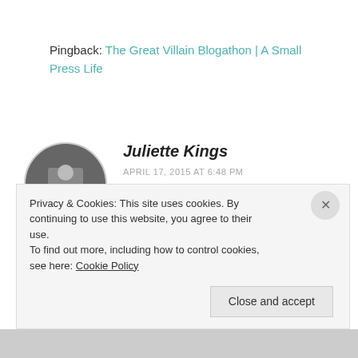Pingback: The Great Villain Blogathon | A Small Press Life
Juliette Kings
APRIL 17, 2015 AT 6:48 PM
A girl would have to be dead not to swoon at the sight of Stewart Granger.
Privacy & Cookies: This site uses cookies. By continuing to use this website, you agree to their use. To find out more, including how to control cookies, see here: Cookie Policy
Close and accept